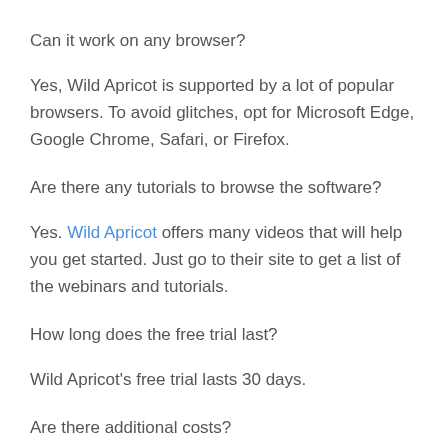Can it work on any browser?
Yes, Wild Apricot is supported by a lot of popular browsers. To avoid glitches, opt for Microsoft Edge, Google Chrome, Safari, or Firefox.
Are there any tutorials to browse the software?
Yes. Wild Apricot offers many videos that will help you get started. Just go to their site to get a list of the webinars and tutorials.
How long does the free trial last?
Wild Apricot's free trial lasts 30 days.
Are there additional costs?
Wild Apricot does not have extra transaction fees. You receive all